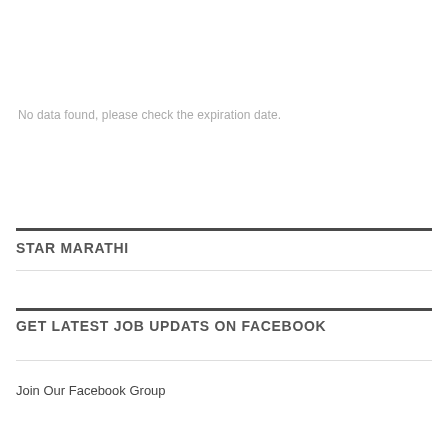No data found, please check the expiration date.
STAR MARATHI
GET LATEST JOB UPDATS ON FACEBOOK
Join Our Facebook Group